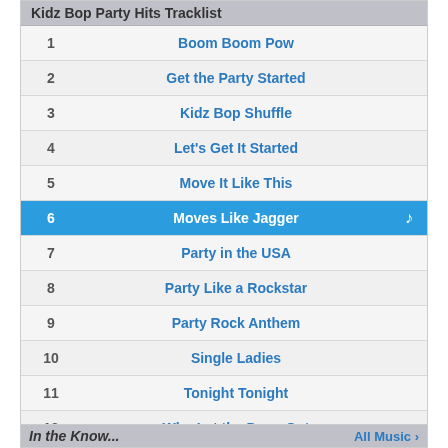Kidz Bop Party Hits Tracklist
| # | Title |
| --- | --- |
| 1 | Boom Boom Pow |
| 2 | Get the Party Started |
| 3 | Kidz Bop Shuffle |
| 4 | Let's Get It Started |
| 5 | Move It Like This |
| 6 | Moves Like Jagger |
| 7 | Party in the USA |
| 8 | Party Like a Rockstar |
| 9 | Party Rock Anthem |
| 10 | Single Ladies |
| 11 | Tonight Tonight |
| 12 | Who Let the Dogs Out |
More Albums
embed </>
In the Know...